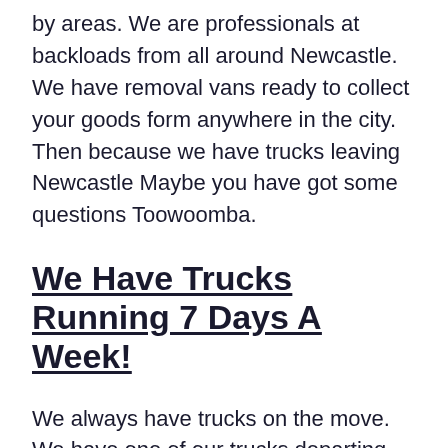by areas. We are professionals at backloads from all around Newcastle. We have removal vans ready to collect your goods form anywhere in the city. Then because we have trucks leaving Newcastle Maybe you have got some questions Toowoomba.
We Have Trucks Running 7 Days A Week!
We always have trucks on the move. We have one of our trucks departing Newcastle, to begin relocating your furniture towards Toowoomba